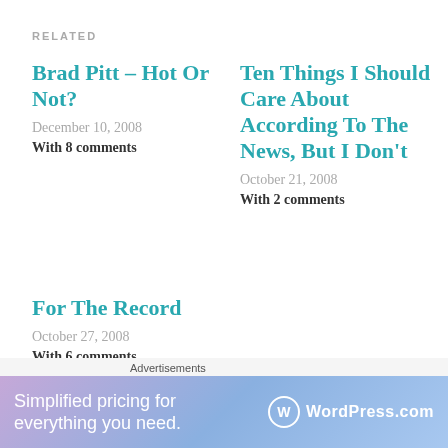RELATED
Brad Pitt – Hot Or Not?
December 10, 2008
With 8 comments
Ten Things I Should Care About According To The News, But I Don't
October 21, 2008
With 2 comments
For The Record
October 27, 2008
With 6 comments
CATEGORIES  UNCATEGORIZED
Advertisements
Simplified pricing for everything you need.
WordPress.com